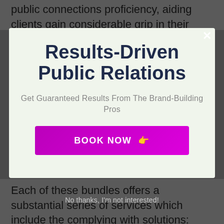public connections proficiency, aiding clients gain considerable grip in their respective fields. Some of their customers have included Mobilo, BestMap
[Figure (screenshot): Modal popup overlay with light green background containing title 'Results-Driven Public Relations', subtitle 'Get Guaranteed Results From The Brand-Building Pros', and a magenta 'BOOK NOW' button with a pointing finger emoji]
Results-Driven Public Relations
Get Guaranteed Results From The Brand-Building Pros
BOOK NOW 👉
No thanks, I'm not interested!
Each of these bundles offers a substantial series of services which include the complying with solutions: